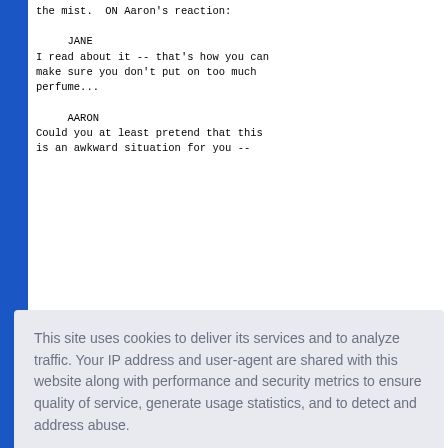the mist.  ON Aaron's reaction:
JANE
I read about it -- that's how you can
make sure you don't put on too much
perfume...
AARON
Could you at least pretend that this
is an awkward situation for you --
akes a s
within s
This site uses cookies to deliver its services and to analyze traffic. Your IP address and user-agent are shared with this website along with performance and security metrics to ensure quality of service, generate usage statistics, and to detect and address abuse.
Learn more
Got it!
She hangs up... paces... Then looks at Aaron, relaxes.